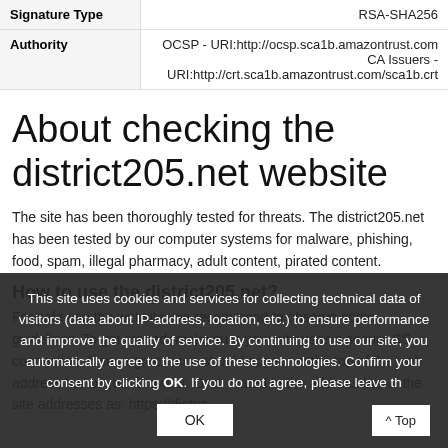| Signature Type |  |
| --- | --- |
| Signature Type | RSA-SHA256 |
| Authority | OCSP - URI:http://ocsp.sca1b.amazontrust.com
CA Issuers - URI:http://crt.sca1b.amazontrust.com/sca1b.crt |
About checking the district205.net website
The site has been thoroughly tested for threats. The district205.net has been tested by our computer systems for malware, phishing, food, spam, illegal pharmacy, adult content, pirated content.
How to use the district205.net?
For safe use the website, we recommend to observe some guidelines. To get started, make sure your site uses a secure SSL connection. If so, a green icon should appear at the top of the web address bar of your browser. Or displayed in the address bar of the site addresses as: https://distric...
This site uses cookies and services for collecting technical data of visitors (data about IP-address, location, etc.) to ensure performance and improve the quality of service. By continuing to use our site, you automatically agree to the use of these technologies. Confirm your consent by clicking OK. If you do not agree, please leave th...